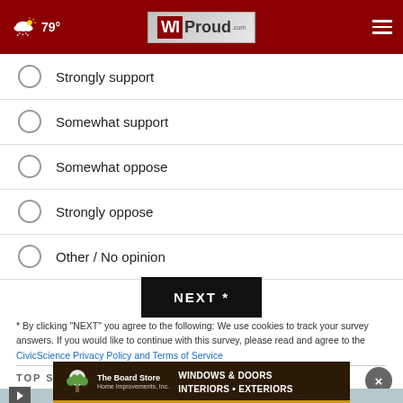WI Proud .com — 79° weather — navigation header
Strongly support
Somewhat support
Somewhat oppose
Strongly oppose
Other / No opinion
NEXT *
* By clicking "NEXT" you agree to the following: We use cookies to track your survey answers. If you would like to continue with this survey, please read and agree to the CivicScience Privacy Policy and Terms of Service
TOP STORIES >
[Figure (advertisement): The Board Store Home Improvements Inc. advertisement banner: WINDOWS & DOORS INTERIORS • EXTERIORS]